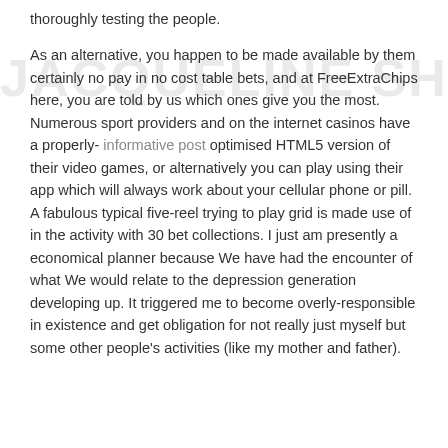thoroughly testing the people.
As an alternative, you happen to be made available by them certainly no pay in no cost table bets, and at FreeExtraChips here, you are told by us which ones give you the most. Numerous sport providers and on the internet casinos have a properly- informative post optimised HTML5 version of their video games, or alternatively you can play using their app which will always work about your cellular phone or pill. A fabulous typical five-reel trying to play grid is made use of in the activity with 30 bet collections. I just am presently a economical planner because We have had the encounter of what We would relate to the depression generation developing up. It triggered me to become overly-responsible in existence and get obligation for not really just myself but some other people's activities (like my mother and father).